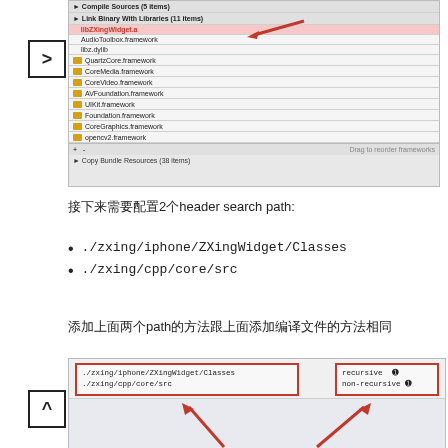[Figure (screenshot): Xcode project settings screenshot showing Link Binary With Libraries section with libZXingWidget.a highlighted in red, and list of frameworks including AudioToolbox, libz.dylib, QuartzCore, CoreMedia, CoreVideo, AVFoundation, UIKit, Foundation, CoreGraphics, opencv2. Navigation arrow button visible on left.]
接下来需要配置2个header search path:
./zxing/iphone/ZXingWidget/Classes
./zxing/cpp/core/src
添加上面两个path的方法跟上面添加编译文件的方法相同
[Figure (screenshot): Xcode header search paths settings screenshot showing two paths: ./zxing/iphone/ZXingWidget/Classes and ./zxing/cpp/core/src in a red-bordered box on the left, and recursive/non-recursive options in a red-bordered box on the right, with red arrows pointing to both boxes.]